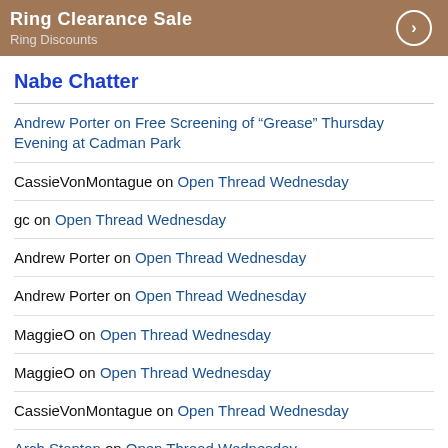[Figure (other): Brown promotional banner with 'Ring Clearance Sale' title, 'Ring Discounts' subtitle, and a circular arrow button on the right]
Nabe Chatter
Andrew Porter on Free Screening of “Grease” Thursday Evening at Cadman Park
CassieVonMontague on Open Thread Wednesday
gc on Open Thread Wednesday
Andrew Porter on Open Thread Wednesday
Andrew Porter on Open Thread Wednesday
MaggieO on Open Thread Wednesday
MaggieO on Open Thread Wednesday
CassieVonMontague on Open Thread Wednesday
Arch Stanton on Open Thread Wednesday
eliteones on Open Thread Wednesday